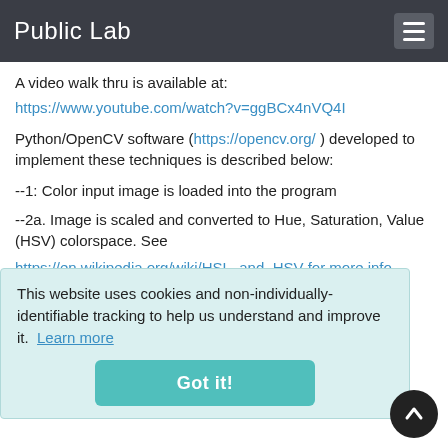Public Lab
A video walk thru is available at:
https://www.youtube.com/watch?v=ggBCx4nVQ4I
Python/OpenCV software (https://opencv.org/) developed to implement these techniques is described below:
--1: Color input image is loaded into the program
--2a. Image is scaled and converted to Hue, Saturation, Value (HSV) colorspace. See https://en.wikipedia.org/wiki/HSL_and_HSV for more info
--2b. Trackbars are created with lower/ upper colorspace options.
--2c. Image, image mask and trackbars are displayed.
--2d. Mask is overlayed with imaged showing color
This website uses cookies and non-individually-identifiable tracking to help us understand and improve it. Learn more  Got it!